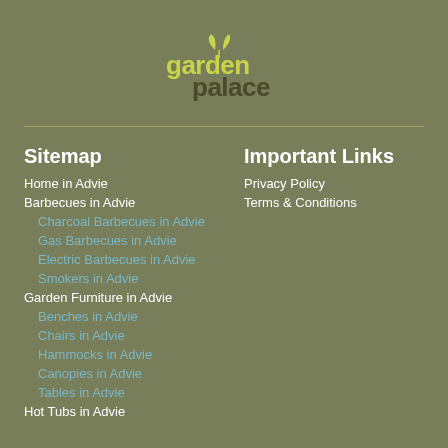[Figure (logo): Garden Palace logo: 'garden' in yellow-green and 'palace' in olive/dark text with two leaf sprouts above]
Sitemap
Home in Advie
Barbecues in Advie
Charcoal Barbecues in Advie
Gas Barbecues in Advie
Electric Barbecues in Advie
Smokers in Advie
Garden Furniture in Advie
Benches in Advie
Chairs in Advie
Hammocks in Advie
Canopies in Advie
Tables in Advie
Hot Tubs in Advie
Important Links
Privacy Policy
Terms & Conditions